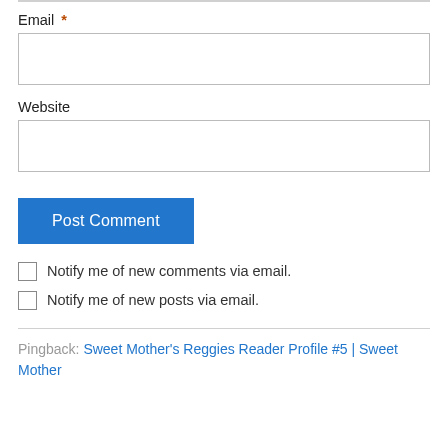Email *
Website
Post Comment
Notify me of new comments via email.
Notify me of new posts via email.
Pingback: Sweet Mother's Reggies Reader Profile #5 | Sweet Mother